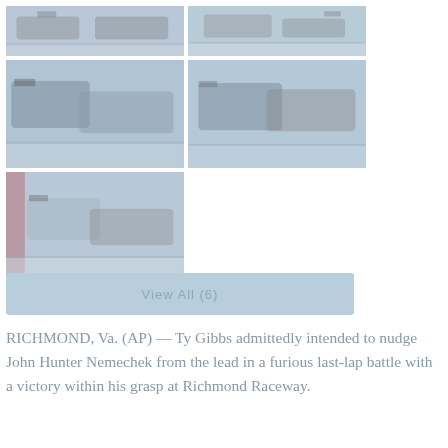[Figure (photo): Six racing car photos arranged in a 2-column grid: top row two track shots, middle row two racing cars side by side, bottom row one racing car photo on left]
View All (6)
RICHMOND, Va. (AP) — Ty Gibbs admittedly intended to nudge John Hunter Nemechek from the lead in a furious last-lap battle with a victory within his grasp at Richmond Raceway.